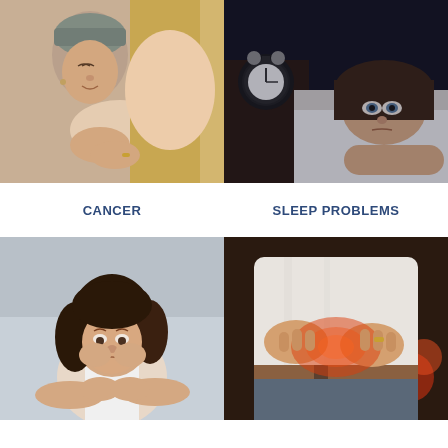[Figure (photo): Two women embracing — an older woman wearing a head wrap (suggesting cancer patient) and a younger woman with long blonde hair, shown in a warm, comforting moment.]
[Figure (photo): Woman lying in bed wide awake at night, looking distressed, with an alarm clock on the nightstand, depicting sleep problems.]
CANCER
SLEEP PROBLEMS
[Figure (photo): Young woman sitting hunched over, resting her face in her hands, looking distressed and anxious.]
[Figure (photo): Man holding his abdomen with both hands, with a reddish glow indicating abdominal pain or digestive problems.]